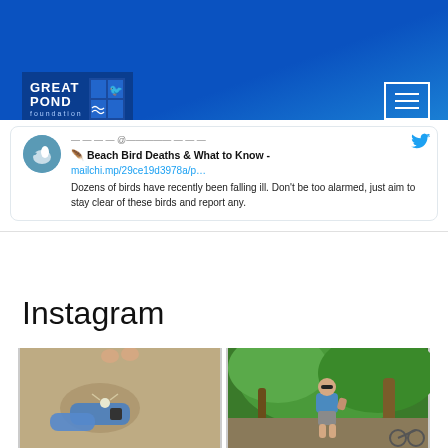Great Pond Foundation
[Figure (screenshot): Tweet card showing Beach Bird Deaths article link with avatar and tweet text: 'Beach Bird Deaths & What to Know - mailchi.mp/29ce19d3978a/p… Dozens of birds have recently been falling ill. Don't be too alarmed, just aim to stay clear of these birds and report any.']
Instagram
[Figure (photo): Person's feet and hands holding a small crab on sandy beach]
[Figure (photo): Person standing on a trail surrounded by green trees and foliage]